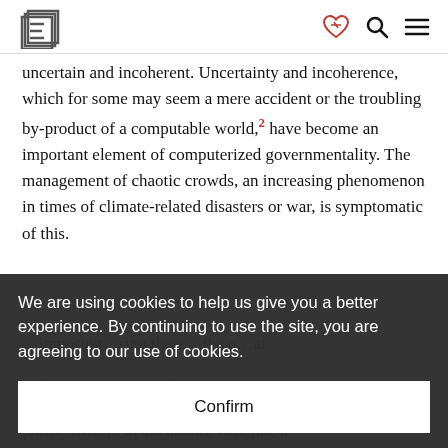E [logo] [heart-handshake icon] [search icon] [menu icon]
uncertain and incoherent. Uncertainty and incoherence, which for some may seem a mere accident or the troubling by-product of a computable world,² have become an important element of computerized governmentality. The management of chaotic crowds, an increasing phenomenon in times of climate-related disasters or war, is symptomatic of this.
We are using cookies to help us give you a better experience. By continuing to use the site, you are agreeing to our use of cookies.
Confirm
police officers in attendance rose like a